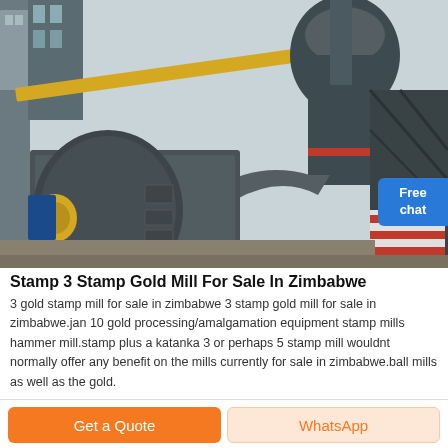[Figure (photo): Industrial milling equipment at an outdoor facility. Large dark grey vertical mill with a curved duct/pipe, yellow and blue mechanical components, metal structures and buildings in background.]
Stamp 3 Stamp Gold Mill For Sale In Zimbabwe
3 gold stamp mill for sale in zimbabwe 3 stamp gold mill for sale in zimbabwe.jan 10 gold processing/amalgamation equipment stamp mills hammer mill.stamp plus a katanka 3 or perhaps 5 stamp mill wouldnt normally offer any benefit on the mills currently for sale in zimbabwe.ball mills as well as the gold.